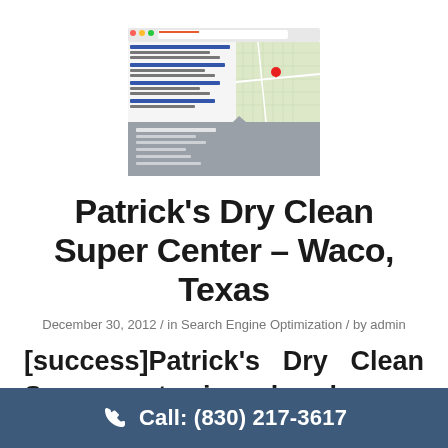[Figure (screenshot): Screenshot of a web browser showing a search results page with a map]
Patrick's Dry Clean Super Center – Waco, Texas
December 30, 2012 / in Search Engine Optimization / by admin
[success]Patrick's Dry Clean Super center is a dry cleaners located in Waco, Texas and has 2 locations.
Call: (830) 217-3617